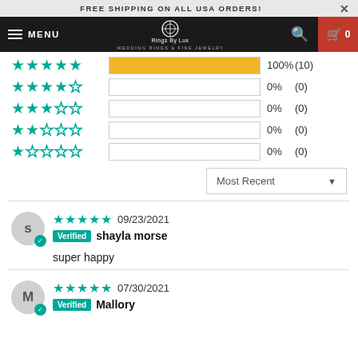FREE SHIPPING ON ALL USA ORDERS!
[Figure (screenshot): Navigation bar with hamburger menu, MENU text, Rings By Lux logo, search icon, and cart icon with 0]
| Stars | Bar | Percent | Count |
| --- | --- | --- | --- |
| 5 stars | 100% filled | 100% | (10) |
| 4 stars | empty | 0% | (0) |
| 3 stars | empty | 0% | (0) |
| 2 stars | empty | 0% | (0) |
| 1 star | empty | 0% | (0) |
Most Recent ▼
09/23/2021 — Verified — shayla morse — super happy
07/30/2021 — Verified — Mallory